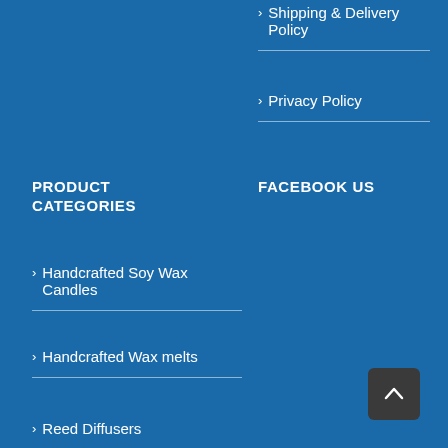> Shipping & Delivery Policy
> Privacy Policy
PRODUCT CATEGORIES
FACEBOOK US
> Handcrafted Soy Wax Candles
> Handcrafted Wax melts
> Reed Diffusers